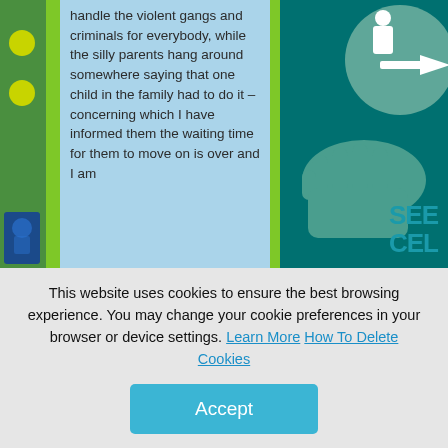[Figure (illustration): Website screenshot showing a colored document/publication page. Left side has a green decorative strip with yellow circles and a small logo. Center has a light blue text box with body text. A green vertical bar separates it from a right teal/dark green graphic area featuring a stylized hand and human figure icon. Bottom right shows 'SEECEL' logo text.]
handle the violent gangs and criminals for everybody, while the silly parents hang around somewhere saying that one child in the family had to do it – concerning which I have informed them the waiting time for them to move on is over and I am
This website uses cookies to ensure the best browsing experience. You may change your cookie preferences in your browser or device settings. Learn More How To Delete Cookies
Accept